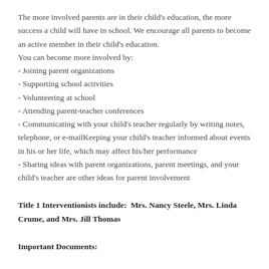The more involved parents are in their child's education, the more success a child will have in school. We encourage all parents to become an active member in their child's education.
You can become more involved by:
- Joining parent organizations
- Supporting school activities
- Volunteering at school
- Attending parent-teacher conferences
- Communicating with your child's teacher regularly by writing notes, telephone, or e-mailKeeping your child's teacher informed about events in his or her life, which may affect his/her performance
- Sharing ideas with parent organizations, parent meetings, and your child's teacher are other ideas for parent involvement
Title 1 Interventionists include:  Mrs. Nancy Steele, Mrs. Linda Crume, and Mrs. Jill Thomas
Important Documents: